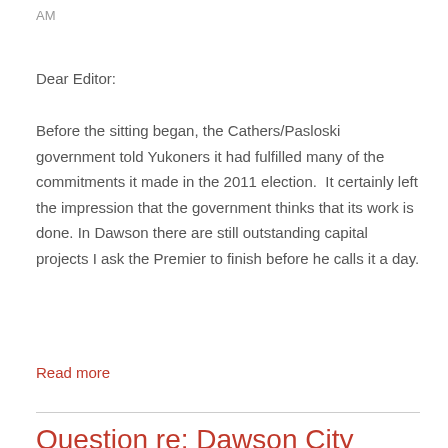AM
Dear Editor:
Before the sitting began, the Cathers/Pasloski government told Yukoners it had fulfilled many of the commitments it made in the 2011 election.  It certainly left the impression that the government thinks that its work is done. In Dawson there are still outstanding capital projects I ask the Premier to finish before he calls it a day.
Read more
Question re: Dawson City recreation centre - November 19, 2014